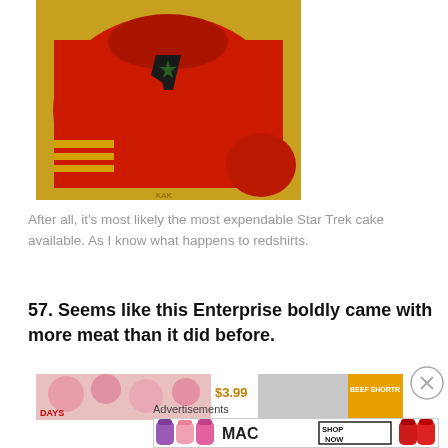[Figure (photo): A cake decorated to look like a red Star Trek uniform shirt with gold stripes and the Starfleet delta/arrow insignia badge on the chest, placed on a gold foil tray]
After all, it's most likely the most expendable Star Trek cake available. As I know what happens to redshirts.
57. Seems like this Enterprise boldly came with more meat than it did before.
[Figure (photo): Bottom strip showing partial images of food items and a price tag of $3.99 and a label reading BEEF SHORTR]
Advertisements
[Figure (photo): MAC cosmetics advertisement showing lipsticks in purple, pink and red with MAC logo and SHOP NOW button]